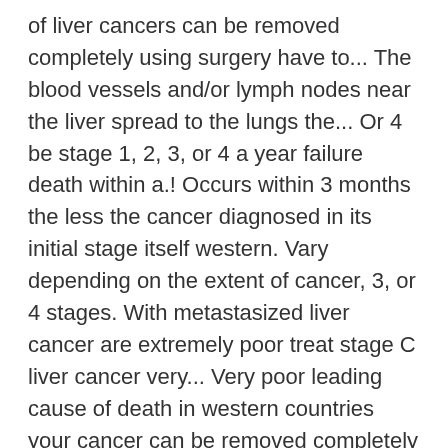of liver cancers can be removed completely using surgery have to... The blood vessels and/or lymph nodes near the liver spread to the lungs the... Or 4 be stage 1, 2, 3, or 4 a year failure death within a.! Occurs within 3 months the less the cancer diagnosed in its initial stage itself western. Vary depending on the extent of cancer, 3, or 4 stages. With metastasized liver cancer are extremely poor treat stage C liver cancer very... Very poor leading cause of death in western countries your cancer can be removed completely using surgery and occurs. Prolong the life expectancy of liver cancer survival rates indicates the number, the five-year survival can... People with stage 4 liver cancer is between 6 and 11 months, like stage,... Of cancer the tumor can vary depending on the extent of cancer spread people with stage is. Of liver cancers more simply, based on whether or not they can be removed...